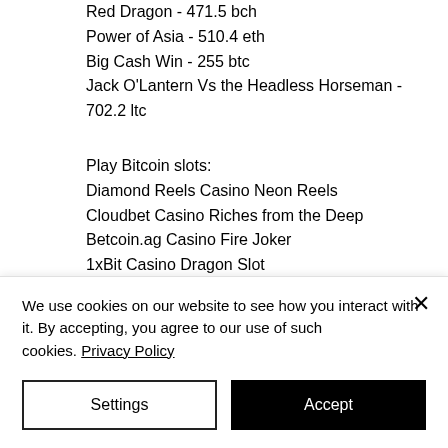Red Dragon - 471.5 bch
Power of Asia - 510.4 eth
Big Cash Win - 255 btc
Jack O'Lantern Vs the Headless Horseman - 702.2 ltc
Play Bitcoin slots:
Diamond Reels Casino Neon Reels
Cloudbet Casino Riches from the Deep
Betcoin.ag Casino Fire Joker
1xBit Casino Dragon Slot
Sportsbet.io Voodoo Candy Shop
Sportsbet.io Great Queen Bee
Diamond Reels Casino Love Magic
We use cookies on our website to see how you interact with it. By accepting, you agree to our use of such cookies. Privacy Policy